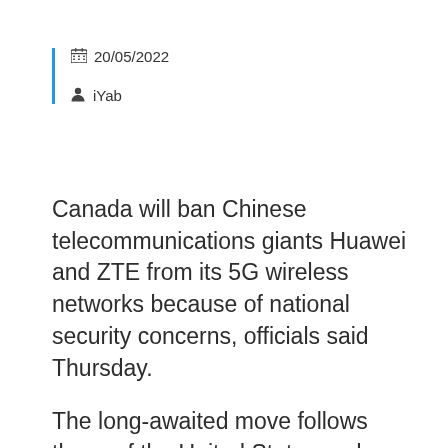20/05/2022
iYab
Canada will ban Chinese telecommunications giants Huawei and ZTE from its 5G wireless networks because of national security concerns, officials said Thursday.
The long-awaited move follows those of the United States and other key allies and comes on the heels of a diplomatic row between Ottawa and Beijing over the